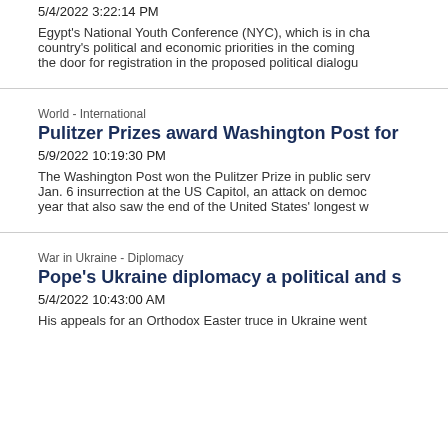5/4/2022 3:22:14 PM
Egypt's National Youth Conference (NYC), which is in cha country's political and economic priorities in the coming the door for registration in the proposed political dialogu
World - International
Pulitzer Prizes award Washington Post for
5/9/2022 10:19:30 PM
The Washington Post won the Pulitzer Prize in public serv Jan. 6 insurrection at the US Capitol, an attack on democ year that also saw the end of the United States' longest w
War in Ukraine - Diplomacy
Pope's Ukraine diplomacy a political and s
5/4/2022 10:43:00 AM
His appeals for an Orthodox Easter truce in Ukraine went